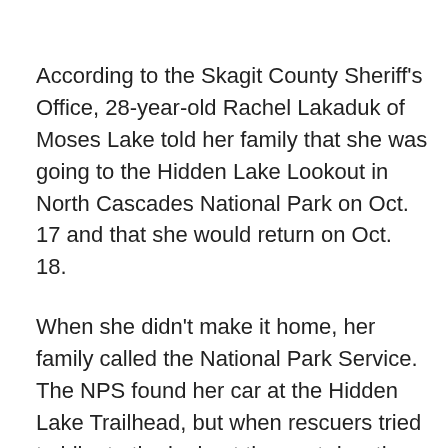According to the Skagit County Sheriff's Office, 28-year-old Rachel Lakaduk of Moses Lake told her family that she was going to the Hidden Lake Lookout in North Cascades National Park on Oct. 17 and that she would return on Oct. 18.
When she didn't make it home, her family called the National Park Service. The NPS found her car at the Hidden Lake Trailhead, but when rescuers tried to hike to the lookout the next day, they had to turn back because of treacherous weather.
Monday, rescuers tried again and made it within 200 yards of the cabin and lookout, but they had to return